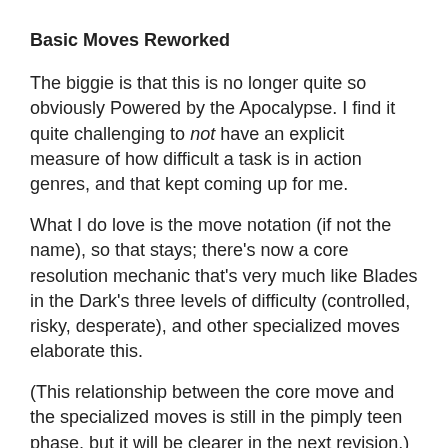Basic Moves Reworked
The biggie is that this is no longer quite so obviously Powered by the Apocalypse. I find it quite challenging to not have an explicit measure of how difficult a task is in action genres, and that kept coming up for me.
What I do love is the move notation (if not the name), so that stays; there's now a core resolution mechanic that's very much like Blades in the Dark's three levels of difficulty (controlled, risky, desperate), and other specialized moves elaborate this.
(This relationship between the core move and the specialized moves is still in the pimply teen phase, but it will be clearer in the next revision.)
There is still an intermediate terminology problem at the seam - rolling 2d6 6-/7-9/10+ is a miss/hit/break, but then there are special names for the things that happen based on the degree of difficulty (succeed, fail, a cost, a disaster). In this design, 'hit/miss/break' is intermediate terminology that